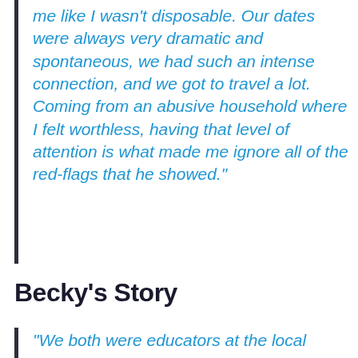me like I wasn't disposable. Our dates were always very dramatic and spontaneous, we had such an intense connection, and we got to travel a lot. Coming from an abusive household where I felt worthless, having that level of attention is what made me ignore all of the red-flags that he showed.”
Becky’s Story
“We both were educators at the local